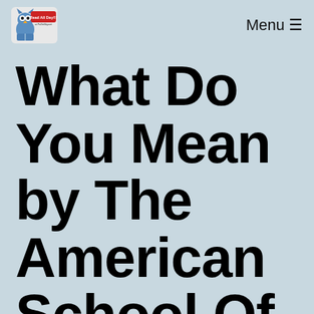Read All Day!!! Menu ≡
What Do You Mean by The American School Of Dog Training?